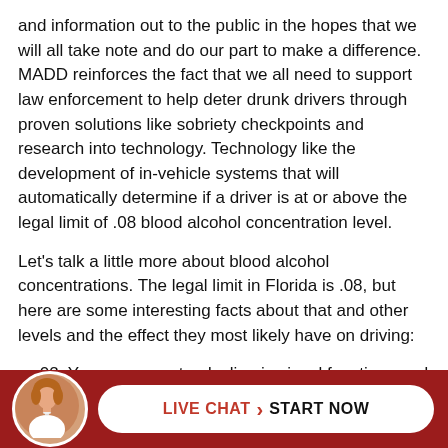and information out to the public in the hopes that we will all take note and do our part to make a difference. MADD reinforces the fact that we all need to support law enforcement to help deter drunk drivers through proven solutions like sobriety checkpoints and research into technology. Technology like the development of in-vehicle systems that will automatically determine if a driver is at or above the legal limit of .08 blood alcohol concentration level.
Let's talk a little more about blood alcohol concentrations. The legal limit in Florida is .08, but here are some interesting facts about that and other levels and the effect they most likely have on driving:
.02: You can expect a decline in visual functions and the ability to perform two tasks at once.
.05: Now you will likely experience reduced coordination and the ability to track moving objects,
[Figure (other): Dark red footer bar with a circular avatar photo of a woman and a white pill-shaped button reading LIVE CHAT > START NOW]